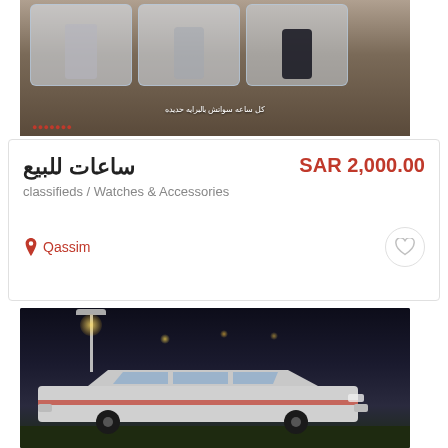[Figure (photo): Photo of watch display trays with watches, on a dark textured background. Arabic text overlay visible at bottom.]
ساعات للبيع
SAR 2,000.00
classifieds / Watches & Accessories
Qassim
[Figure (photo): Nighttime photo of a silver/white station wagon car parked on a road with street lights in the background.]